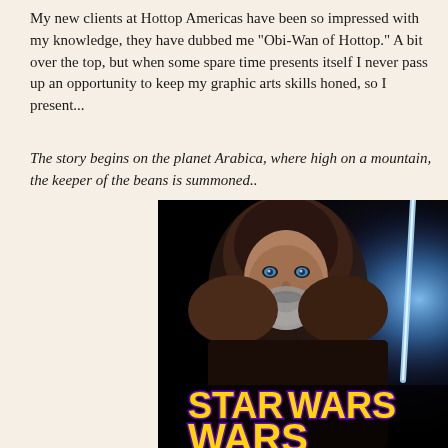My new clients at Hottop Americas have been so impressed with my knowledge, they have dubbed me "Obi-Wan of Hottop." A bit over the top, but when some spare time presents itself I never pass up an opportunity to keep my graphic arts skills honed, so I present...
The story begins on the planet Arabica, where high on a mountain, the keeper of the beans is summoned..
[Figure (photo): A Star Wars movie poster parody showing a bearded man in a hooded robe reminiscent of Obi-Wan Kenobi, holding what appears to be a lightsaber (glowing blue). At the bottom of the image is the Star Wars logo in yellow with blue/purple outline, partially cut off showing 'STAR WARS' text.]